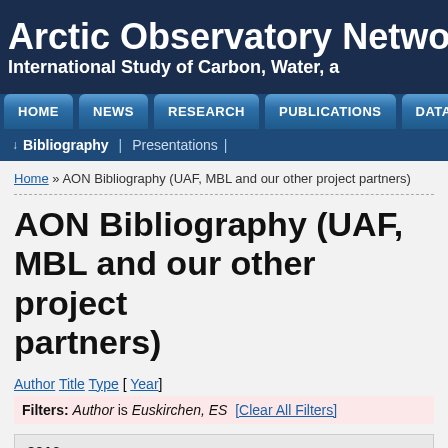Arctic Observatory Network
International Study of Carbon, Water, a...
HOME | NEWS | RESEARCH | PUBLICATIONS | DATA ACCESS
Bibliography | Presentations
Home » AON Bibliography (UAF, MBL and our other project partners)
AON Bibliography (UAF, MBL and our other project partners)
Author Title Type [ Year ]
Filters: Author is Euskirchen, ES  [Clear All Filters]
2016